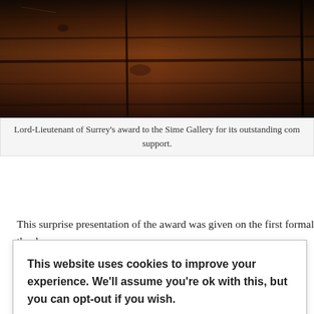[Figure (photo): Close-up photograph of dark wooden planks or beams with a textured grain pattern, appears to be a detail from an award or decorative item.]
Lord-Lieutenant of Surrey's award to the Sime Gallery for its outstanding com... support.
This surprise presentation of the award was given on the first formal thank-yo...
This website uses cookies to improve your experience. We'll assume you're ok with this, but you can opt-out if you wish.
Cookie settings   ACCEPT
Sime was both a painter and an illustrator. When his wife Mary died in 1949 a sizeable amount of artwork by her late husband in her possession was donated... Worplesdon. The sale of their home Crown Cottage enabled the gallery to be c... inside in 1956 inside Worplesdon Memorial Hall.
Now run as an charitable incorporated organisation, the gallery and its Ta Ta c... open on Wednesdays and Sundays from 2pm to 4pm.
It's business plan and fundraising strategy, with funding by the National L...